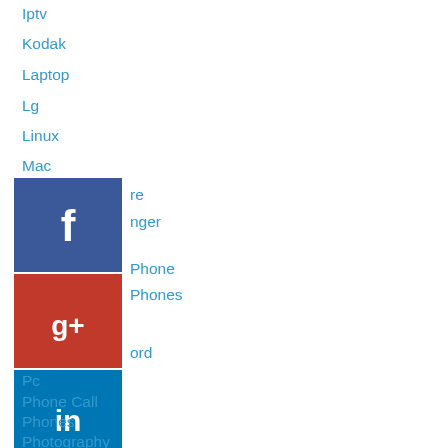Iptv
Kodak
Laptop
Lg
Linux
Mac
[Figure (logo): Facebook social media icon (blue square with white f)]
[Figure (logo): Google+ social media icon (red square with white g+)]
[Figure (logo): LinkedIn social media icon (blue square with white in)]
Microsoft
Mobile Phone
Mobile Phones
Password
Pc
Phone Call
Phones
Photography
Plusnet
Printers
Problems